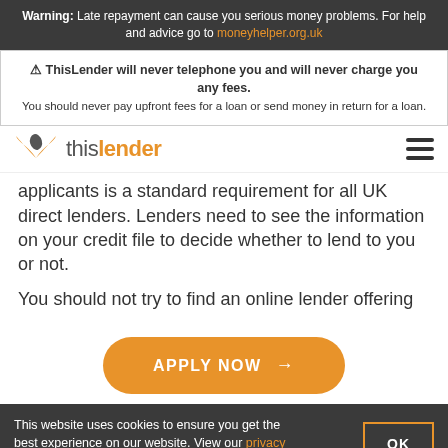Warning: Late repayment can cause you serious money problems. For help and advice go to moneyhelper.org.uk
⚠ ThisLender will never telephone you and will never charge you any fees. You should never pay upfront fees for a loan or send money in return for a loan.
[Figure (logo): ThisLender logo with orange chevron/wing icon and text 'thislender' in grey and orange]
applicants is a standard requirement for all UK direct lenders. Lenders need to see the information on your credit file to decide whether to lend to you or not.
You should not try to find an online lender offering
[Figure (other): Orange rounded button with text 'APPLY NOW →']
This website uses cookies to ensure you get the best experience on our website. View our privacy policy and cookie policy for more information.
bypass. When you apply through ThisLender, you could